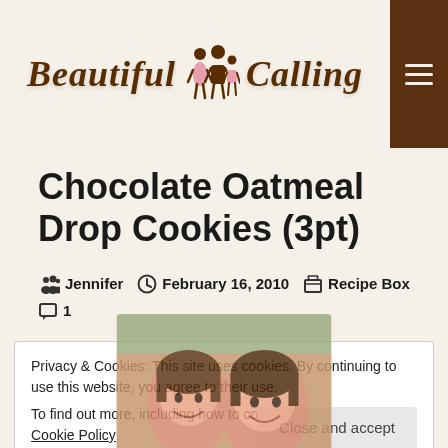Beautiful Calling
Chocolate Oatmeal Drop Cookies (3pt)
Jennifer  February 16, 2010  Recipe Box  1
Privacy & Cookies: This site uses cookies. By continuing to use this website, you agree to their use. To find out more, including how to control cookies, see here: Cookie Policy
[Figure (photo): Photo of two women smiling, partially visible behind cookie notice overlay]